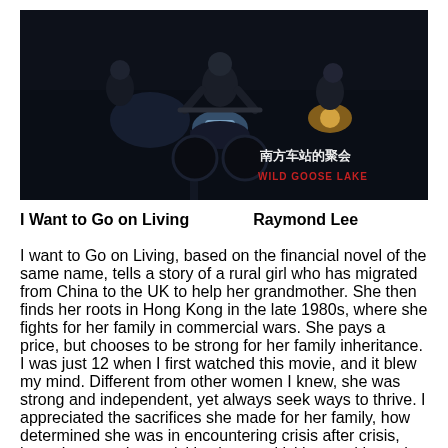[Figure (photo): A nighttime photo of motorcycles on a dark road, with Chinese and English text overlay reading 南方车站的聚会 / WILD GOOSE LAKE]
I Want to Go on Living　　　　Raymond Lee
I want to Go on Living, based on the financial novel of the same name, tells a story of a rural girl who has migrated from China to the UK to help her grandmother. She then finds her roots in Hong Kong in the late 1980s, where she fights for her family in commercial wars. She pays a price, but chooses to be strong for her family inheritance. I was just 12 when I first watched this movie, and it blew my mind. Different from other women I knew, she was strong and independent, yet always seek ways to thrive. I appreciated the sacrifices she made for her family, how determined she was in encountering crisis after crisis, how she turned negativities into positivities, and how she